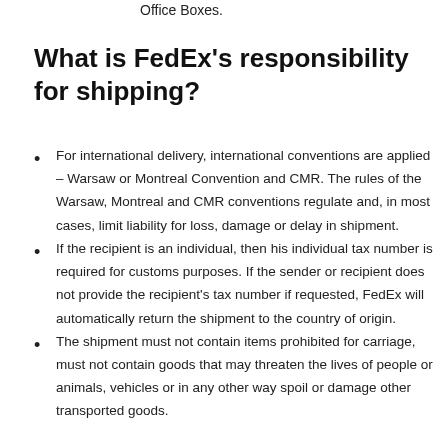Office Boxes.
What is FedEx's responsibility for shipping?
For international delivery, international conventions are applied – Warsaw or Montreal Convention and CMR. The rules of the Warsaw, Montreal and CMR conventions regulate and, in most cases, limit liability for loss, damage or delay in shipment.
If the recipient is an individual, then his individual tax number is required for customs purposes. If the sender or recipient does not provide the recipient's tax number if requested, FedEx will automatically return the shipment to the country of origin.
The shipment must not contain items prohibited for carriage, must not contain goods that may threaten the lives of people or animals, vehicles or in any other way spoil or damage other transported goods.
If the shipment...